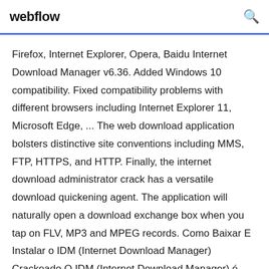webflow
Firefox, Internet Explorer, Opera, Baidu Internet Download Manager v6.36. Added Windows 10 compatibility. Fixed compatibility problems with different browsers including Internet Explorer 11, Microsoft Edge, ... The web download application bolsters distinctive site conventions including MMS, FTP, HTTPS, and HTTP. Finally, the internet download administrator crack has a versatile download quickening agent. The application will naturally open a download exchange box when you tap on FLV, MP3 and MPEG records. Como Baixar E Instalar o IDM (Internet Download Manager) Crackeado O IDM (Internet Download Manager) é um ...